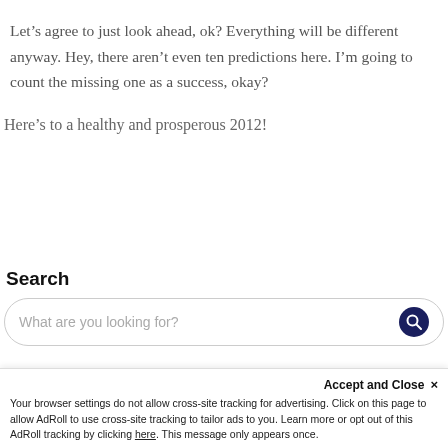Let’s agree to just look ahead, ok? Everything will be different anyway. Hey, there aren’t even ten predictions here. I’m going to count the missing one as a success, okay?
Here’s to a healthy and prosperous 2012!
Search
What are you looking for?
Accept and Close ×
Your browser settings do not allow cross-site tracking for advertising. Click on this page to allow AdRoll to use cross-site tracking to tailor ads to you. Learn more or opt out of this AdRoll tracking by clicking here. This message only appears once.